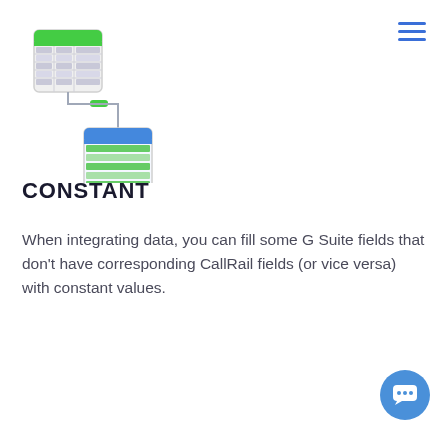[Figure (illustration): Data integration diagram showing two spreadsheet/table icons connected by a line with an arrow pointing downward from the first (white with green header) to the second (white with blue header and green rows), with a small green minus/dash connector element between them.]
CONSTANT
When integrating data, you can fill some G Suite fields that don't have corresponding CallRail fields (or vice versa) with constant values.
[Figure (illustration): Blue circular chat button with white speech bubble icon containing three dots, located in the bottom-right corner.]